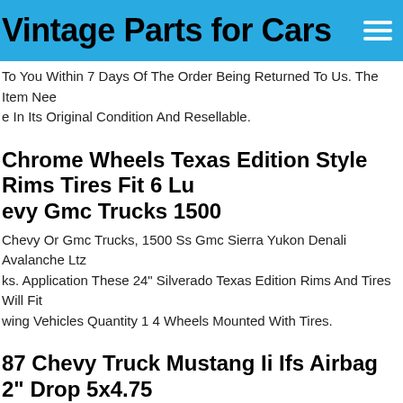Vintage Parts for Cars
To You Within 7 Days Of The Order Being Returned To Us. The Item Needs To Be In Its Original Condition And Resellable.
Chrome Wheels Texas Edition Style Rims Tires Fit 6 Lug Chevy Gmc Trucks 1500
Chevy Or Gmc Trucks, 1500 Ss Gmc Sierra Yukon Denali Avalanche Ltz Trucks. Application These 24" Silverado Texas Edition Rims And Tires Will Fit Following Vehicles Quantity 1 4 Wheels Mounted With Tires.
87 Chevy Truck Mustang Ii Ifs Airbag 2" Drop 5x4.75 Power Lhd Rack
Ring Rack -- Power Lhd. Bolt Pattern -- Gm 5x4.75. Suspension -- Airbag Platform -- Mustang Ii. Application -- 60-87 Chevy Truck. Top End Speed Was Founded On 3 Principals. Spindle -- 2" Drop.